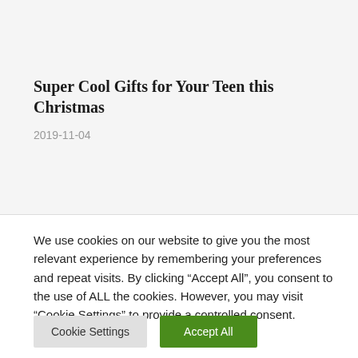Super Cool Gifts for Your Teen this Christmas
2019-11-04
We use cookies on our website to give you the most relevant experience by remembering your preferences and repeat visits. By clicking “Accept All”, you consent to the use of ALL the cookies. However, you may visit "Cookie Settings" to provide a controlled consent.
Cookie Settings | Accept All